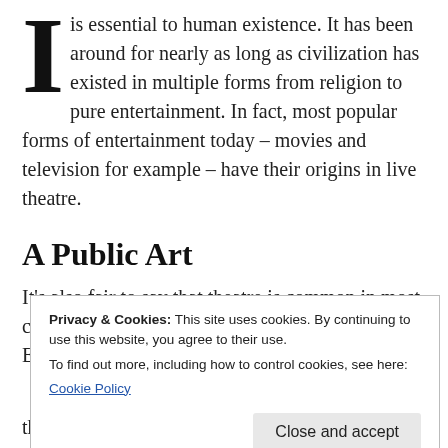I is essential to human existence. It has been around for nearly as long as civilization has existed in multiple forms from religion to pure entertainment. In fact, most popular forms of entertainment today – movies and television for example – have their origins in live theatre.
A Public Art
It's also fair to say that theatre is common in most communities. You may never get to be a part of a Broadway audience, you might not
Privacy & Cookies: This site uses cookies. By continuing to use this website, you agree to their use.
To find out more, including how to control cookies, see here:
Cookie Policy
the way, not the regular Sunday service).